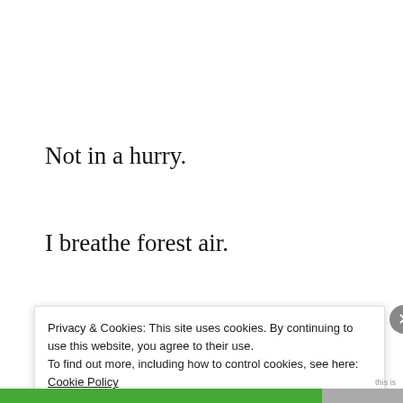Not in a hurry.
I breathe forest air.
I stop by to listen to the trees,
& to soak in the surroundings.
Privacy & Cookies: This site uses cookies. By continuing to use this website, you agree to their use. To find out more, including how to control cookies, see here: Cookie Policy
Close and accept